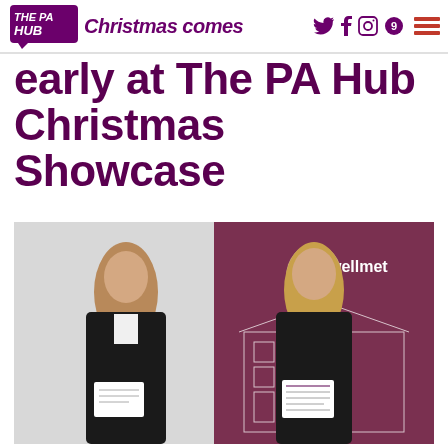THE PA HUB — Christmas comes — social icons and hamburger menu
early at The PA Hub Christmas Showcase
[Figure (photo): Two blonde women standing and smiling, holding printed documents, in front of a Wellmet branded pull-up banner with an illustrated building. One woman on the left wears a black blazer over white top, one on right in black top.]